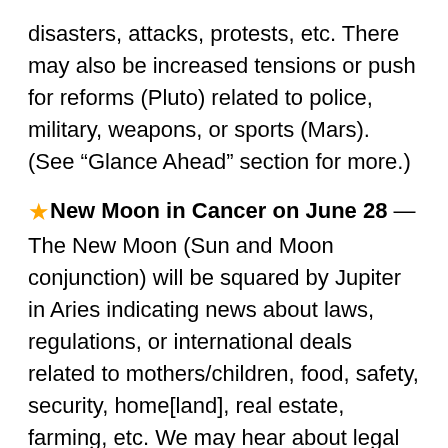disasters, attacks, protests, etc. There may also be increased tensions or push for reforms (Pluto) related to police, military, weapons, or sports (Mars). (See “Glance Ahead” section for more.)
★ New Moon in Cancer on June 28 — The New Moon (Sun and Moon conjunction) will be squared by Jupiter in Aries indicating news about laws, regulations, or international deals related to mothers/children, food, safety, security, home[land], real estate, farming, etc. We may hear about legal announcements or international deals that involve areas above (e.g., a ruling that aims to secure food supply, a rule that aims to protects mothers/children, an international agreement about transporting food, a policy that affects real estate prices, etc.). With Jupiter being in Aries, the law/policy/international deal may be seen as too